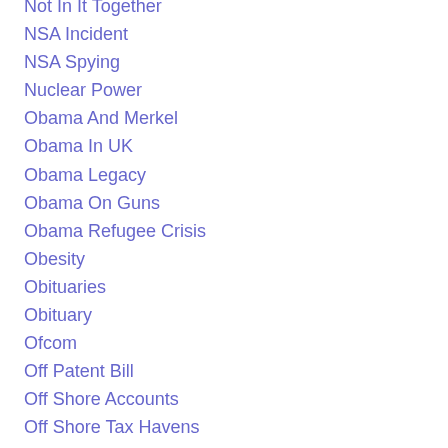Not In It Together
NSA Incident
NSA Spying
Nuclear Power
Obama And Merkel
Obama In UK
Obama Legacy
Obama On Guns
Obama Refugee Crisis
Obesity
Obituaries
Obituary
Ofcom
Off Patent Bill
Off Shore Accounts
Off Shore Tax Havens
Offshore Tax Havens
Old age